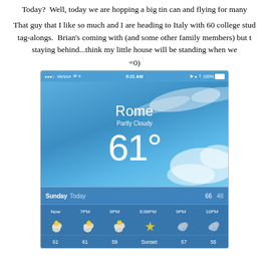Today?  Well, today we are hopping a big tin can and flying for many...
That guy that I like so much and I are heading to Italy with 60 college stud... tag-alongs.  Brian's coming with (and some other family members) but t... staying behind...think my little house will be standing when we...
=0)
[Figure (screenshot): iPhone weather app screenshot showing Rome, Partly Cloudy, 61 degrees. Status bar shows Verizon, 9:21 AM, 100% battery. Daily row shows Sunday Today 66 48. Hourly row shows Now, 7PM, 8PM, 8:08PM, 9PM, 10PM with weather icons and temperatures 61, 61, 59, Sunset, 57, 55.]